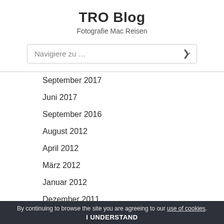TRO Blog
Fotografie Mac Reisen
[Figure (screenshot): Navigation dropdown select element with placeholder text 'Navigiere zu …' and a chevron arrow on the right]
September 2017
Juni 2017
September 2016
August 2012
April 2012
März 2012
Januar 2012
Dezember 2011
By continuing to browse the site you are agreeing to our use of cookies. I UNDERSTAND